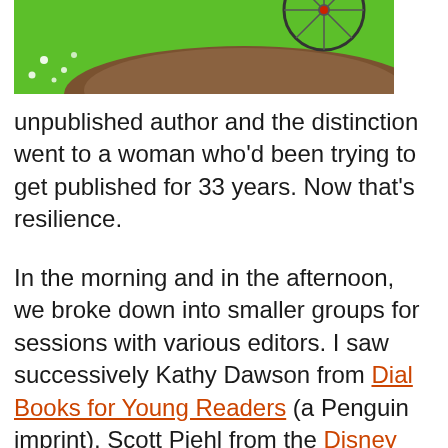[Figure (photo): Top portion of an illustration or photo showing a bicycle wheel on green grass and brown dirt]
unpublished author and the distinction went to a woman who'd been trying to get published for 33 years. Now that's resilience.
In the morning and in the afternoon, we broke down into smaller groups for sessions with various editors. I saw successively Kathy Dawson from Dial Books for Young Readers (a Penguin imprint), Scott Piehl from the Disney Book Group and Tim Travaglini from G.P. Putnam's Sons (another Penguin